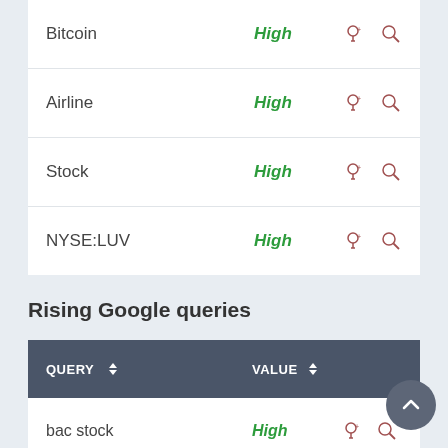|  | VALUE |  |  |
| --- | --- | --- | --- |
| Bitcoin | High | 8+ | 🔍 |
| Airline | High | 8+ | 🔍 |
| Stock | High | 8+ | 🔍 |
| NYSE:LUV | High | 8+ | 🔍 |
Rising Google queries
| QUERY | VALUE |
| --- | --- |
| bac stock | High |
| oxy stock | High |